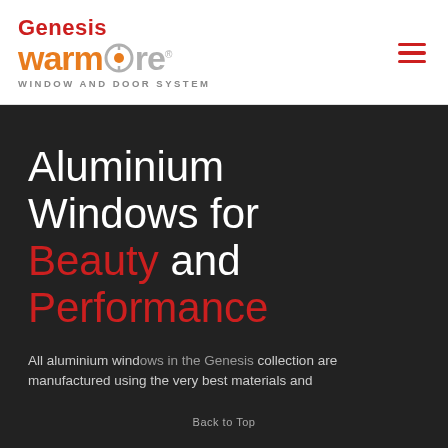[Figure (logo): Genesis Warmcore Window and Door System logo with hamburger menu icon on white header bar]
Aluminium Windows for Beauty and Performance
All aluminium windows in the Genesis collection are manufactured using the very best materials and
Back to Top